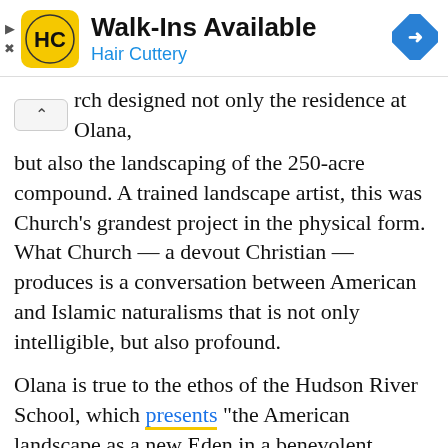[Figure (other): Advertisement banner for Hair Cuttery with yellow logo, text 'Walk-Ins Available' and 'Hair Cuttery', and a blue diamond navigation icon on the right.]
rch designed not only the residence at Olana, but also the landscaping of the 250-acre compound. A trained landscape artist, this was Church's grandest project in the physical form. What Church — a devout Christian — produces is a conversation between American and Islamic naturalisms that is not only intelligible, but also profound.
Olana is true to the ethos of the Hudson River School, which presents "the American landscape as a new Eden in a benevolent universe, blessed by God and providing an uplifting moral influence." Strikingly, the view of that American landscape